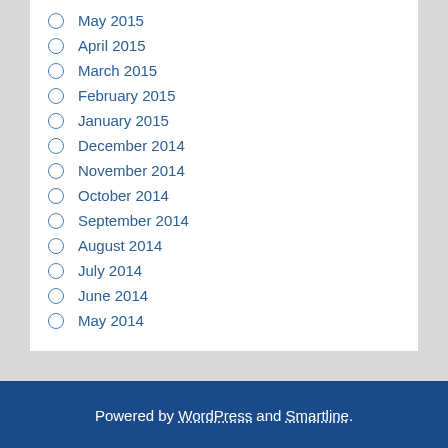May 2015
April 2015
March 2015
February 2015
January 2015
December 2014
November 2014
October 2014
September 2014
August 2014
July 2014
June 2014
May 2014
Powered by WordPress and Smartline.